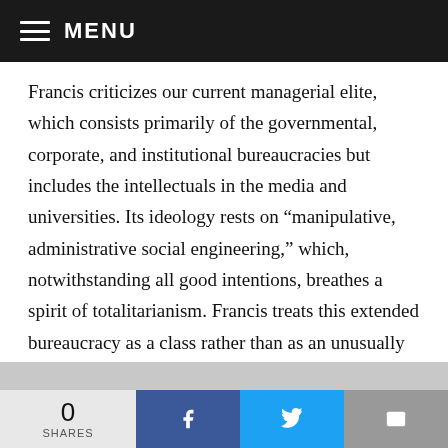MENU
Francis criticizes our current managerial elite, which consists primarily of the governmental, corporate, and institutional bureaucracies but includes the intellectuals in the media and universities. Its ideology rests on “manipulative, administrative social engineering,” which, notwithstanding all good intentions, breathes a spirit of totalitarianism. Francis treats this extended bureaucracy as a class rather than as an unusually powerful stratum that bends to the will of other classes in essential matters. He assumes that modern bureaucracies, governmental and corporate, generate a discrete class interest. But the kernel
0 SHARES